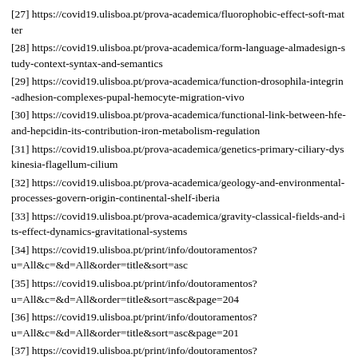[27] https://covid19.ulisboa.pt/prova-academica/fluorophobic-effect-soft-matter
[28] https://covid19.ulisboa.pt/prova-academica/form-language-almadesign-study-context-syntax-and-semantics
[29] https://covid19.ulisboa.pt/prova-academica/function-drosophila-integrin-adhesion-complexes-pupal-hemocyte-migration-vivo
[30] https://covid19.ulisboa.pt/prova-academica/functional-link-between-hfe-and-hepcidin-its-contribution-iron-metabolism-regulation
[31] https://covid19.ulisboa.pt/prova-academica/genetics-primary-ciliary-dyskinesia-flagellum-cilium
[32] https://covid19.ulisboa.pt/prova-academica/geology-and-environmental-processes-govern-origin-continental-shelf-iberia
[33] https://covid19.ulisboa.pt/prova-academica/gravity-classical-fields-and-its-effect-dynamics-gravitational-systems
[34] https://covid19.ulisboa.pt/print/info/doutoramentos?u=All&amp;c=&amp;d=All&amp;order=title&amp;sort=asc
[35] https://covid19.ulisboa.pt/print/info/doutoramentos?u=All&amp;c=&amp;d=All&amp;order=title&amp;sort=asc&amp;page=204
[36] https://covid19.ulisboa.pt/print/info/doutoramentos?u=All&amp;c=&amp;d=All&amp;order=title&amp;sort=asc&amp;page=201
[37] https://covid19.ulisboa.pt/print/info/doutoramentos?u=All&amp;c=&amp;d=All&amp;order=title&amp;sort=asc&amp;page=202
[38] https://covid19.ulisboa.pt/print/info/doutoramentos?